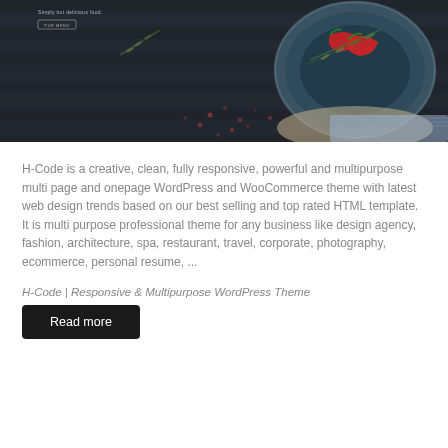[Figure (screenshot): Screenshot of a restaurant/food WordPress theme showing a dark wood table background with a bowl containing chili peppers, rosemary, and spices. Small text reads 'Simply but delicious food.' with an 'OUR MENU' button.]
H-Code is a creative, clean, fully responsive, powerful and multipurpose multi page and onepage WordPress and WooCommerce theme with latest web design trends based on our best selling and top rated HTML template. It is multi purpose professional theme for any business like design agency, fashion, architecture, spa, restaurant, travel, corporate, photography, ecommerce, personal resume, ...
H-Code | Responsive & Multipurpose WordPress Theme
Read more